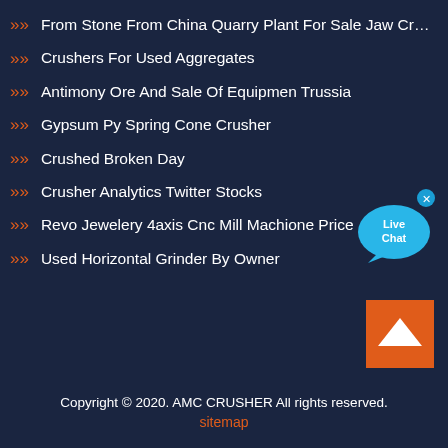From Stone From China Quarry Plant For Sale Jaw Crusher Pu…
Crushers For Used Aggregates
Antimony Ore And Sale Of Equipmen Trussia
Gypsum Py Spring Cone Crusher
Crushed Broken Day
Crusher Analytics Twitter Stocks
Revo Jewelery 4axis Cnc Mill Machione Price
Used Horizontal Grinder By Owner
[Figure (illustration): Live Chat bubble icon with blue speech bubble graphic and x close button]
[Figure (illustration): Orange back-to-top button with upward chevron arrow]
Copyright © 2020. AMC CRUSHER All rights reserved.
sitemap